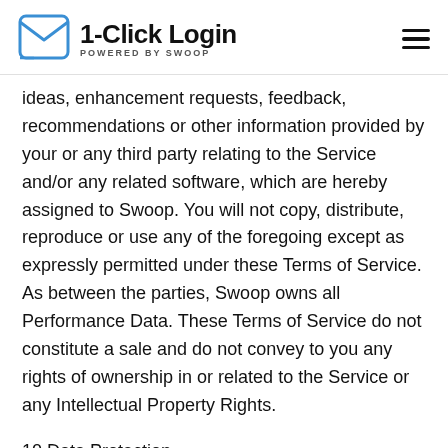1-Click Login POWERED BY SWOOP
ideas, enhancement requests, feedback, recommendations or other information provided by your or any third party relating to the Service and/or any related software, which are hereby assigned to Swoop. You will not copy, distribute, reproduce or use any of the foregoing except as expressly permitted under these Terms of Service. As between the parties, Swoop owns all Performance Data. These Terms of Service do not constitute a sale and do not convey to you any rights of ownership in or related to the Service or any Intellectual Property Rights.
10 Data Protection
10.1 In this Section 10, the terms “personal data,” “data